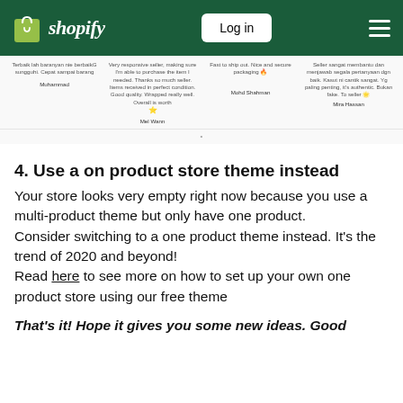shopify — Log in
[Figure (screenshot): Customer review testimonials strip with four reviews from Muhammad, Mel Wann, Mohd Shahman, and Mira Hassan]
4. Use a on product store theme instead
Your store looks very empty right now because you use a multi-product theme but only have one product.
Consider switching to a one product theme instead. It's the trend of 2020 and beyond!
Read here to see more on how to set up your own one product store using our free theme
That's it! Hope it gives you some new ideas. Good